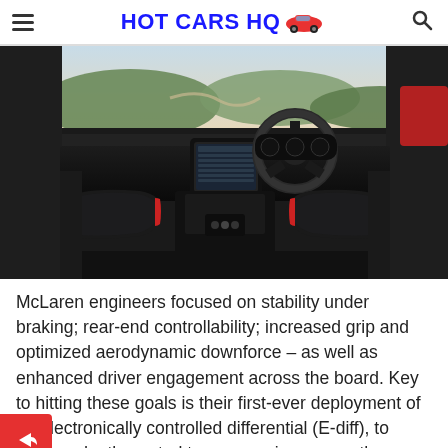HOT CARS HQ
[Figure (photo): McLaren sports car interior showing steering wheel, dashboard touchscreen, black and red seats, with scenic mountain road visible through windshield]
McLaren engineers focused on stability under braking; rear-end controllability; increased grip and optimized aerodynamic downforce – as well as enhanced driver engagement across the board. Key to hitting these goals is their first-ever deployment of an electronically controlled differential (E-diff), to independently control torque moving across the